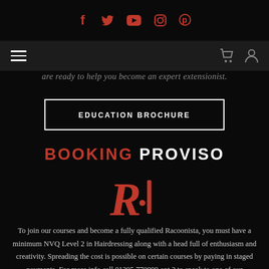Social media icons: f (Facebook), twitter, youtube, instagram, pinterest
[Figure (screenshot): Navigation bar with hamburger menu on left, cart and user icons on right]
are ready to help you become an expert extensionist.
EDUCATION BROCHURE
BOOKING PROVISO
[Figure (logo): R·I logo in red on black background]
To join our courses and become a fully qualified Racoonista, you must have a minimum NVQ Level 2 in Hairdressing along with a head full of enthusiasm and creativity. Spreading the cost is possible on certain courses by paying in staged payments. For more info call 01295 770999 opt 2 to speak to one of our